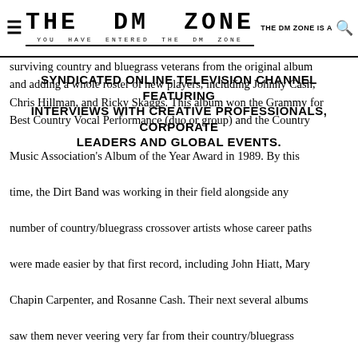THE DM ZONE — YOU HAVE ENTERED THE DM ZONE — THE DM ZONE IS A
surviving country and bluegrass veterans from the original album and adding a whole roster of new players, including Johnny Cash, Chris Hillman, and Ricky Skaggs. This album won the Grammy for Best Country Vocal Performance (duo or group) and the Country Music Association's Album of the Year Award in 1989. By this time, the Dirt Band was working in their field alongside any number of country/bluegrass crossover artists whose career paths were made easier by that first record, including John Hiatt, Mary Chapin Carpenter, and Rosanne Cash. Their next several albums saw them never veering very far from their country/bluegrass roots. The group continued to record a new album every year or so, including a concert album, Live Two Five, celebrating their 25th anniversary as a band, and the self-explanatory Acoustic. In 1999, they returned with Bang Bang Bang. It was followed by the third installment of the Will the Circle Be Unbroken trilogy in 2002 and an album of all new material, Welcome to Woody Creek, in 2004. Ibbotson left after the record and tour, having had enough of the road. NGDB celebrated their 43rd anniversary with the stellar Speed of Life issued by Sugar Hill, recorded live in the studio with a
SYNDICATED ONLINE TELEVISION CHANNEL FEATURING INTERVIEWS WITH CREATIVE PROFESSIONALS, CORPORATE LEADERS AND GLOBAL EVENTS.